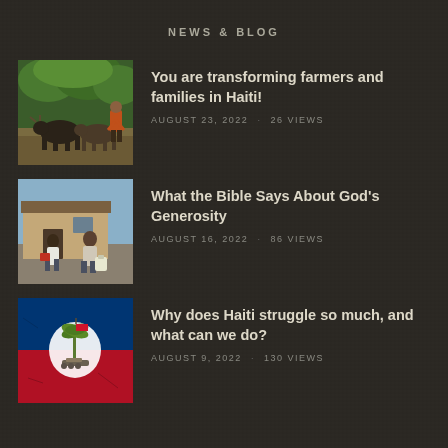NEWS & BLOG
You are transforming farmers and families in Haiti!
AUGUST 23, 2022  ·  26 VIEWS
[Figure (photo): A farmer with cattle/oxen in a green field in Haiti]
What the Bible Says About God's Generosity
AUGUST 16, 2022  ·  86 VIEWS
[Figure (photo): Two people sitting in front of a modest building in Haiti]
Why does Haiti struggle so much, and what can we do?
AUGUST 9, 2022  ·  130 VIEWS
[Figure (photo): Haitian flag with coat of arms on textured background]